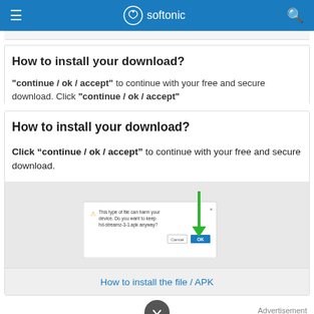softonic
How to install your download?
Click “continue / ok / accept” to continue with your free and secure download.
[Figure (screenshot): Browser dialog box asking about keeping a potentially harmful file hd-streamz-3-1.apk, with Cancel and OK buttons. A green arrow points down to the OK button.]
How to install the file / APK
Advertisement